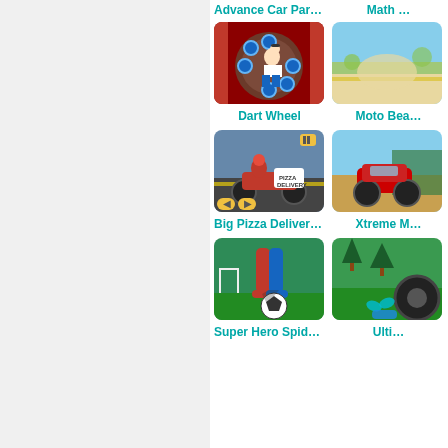Advance Car Parking …
Math …
[Figure (illustration): Dart Wheel game thumbnail showing cartoon character on spinning wheel]
[Figure (illustration): Moto Beach game thumbnail showing desert/racing scene]
Dart Wheel
Moto Bea…
[Figure (illustration): Big Pizza Delivery Boy game thumbnail showing motorcyclist with pizza delivery box]
[Figure (illustration): Xtreme M… game thumbnail showing off-road vehicle]
Big Pizza Delivery Boy…
Xtreme M…
[Figure (illustration): Soccer/Spider-Man game thumbnail showing spider-man legs with soccer ball]
[Figure (illustration): Monster truck game thumbnail showing green environment with large tire]
Super Hero Spider…
Ulti…